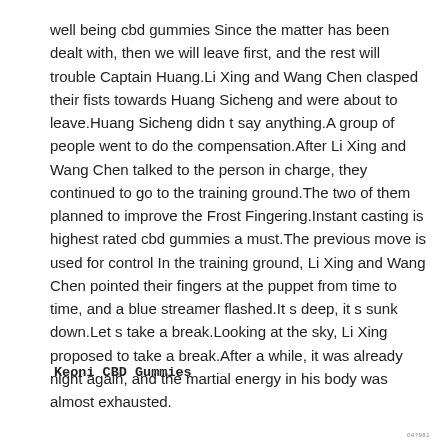well being cbd gummies Since the matter has been dealt with, then we will leave first, and the rest will trouble Captain Huang.Li Xing and Wang Chen clasped their fists towards Huang Sicheng and were about to leave.Huang Sicheng didn t say anything.A group of people went to do the compensation.After Li Xing and Wang Chen talked to the person in charge, they continued to go to the training ground.The two of them planned to improve the Frost Fingering.Instant casting is highest rated cbd gummies a must.The previous move is used for control In the training ground, Li Xing and Wang Chen pointed their fingers at the puppet from time to time, and a blue streamer flashed.It s deep, it s sunk down.Let s take a break.Looking at the sky, Li Xing proposed to take a break.After a while, it was already night again, and the martial energy in his body was almost exhausted.
Keoni CBD Gummies
047981